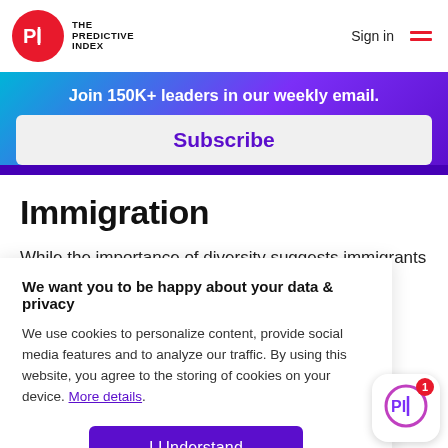[Figure (logo): The Predictive Index logo — red circle with white PI text, next to bold text reading THE PREDICTIVE INDEX]
Sign in
[Figure (illustration): Hamburger menu icon with two red horizontal lines]
Join 150K+ leaders in our weekly email.
Subscribe
Immigration
While the importance of diversity suggests immigrants
We want you to be happy about your data & privacy
We use cookies to personalize content, provide social media features and to analyze our traffic. By using this website, you agree to the storing of cookies on your device. More details.
I Understand